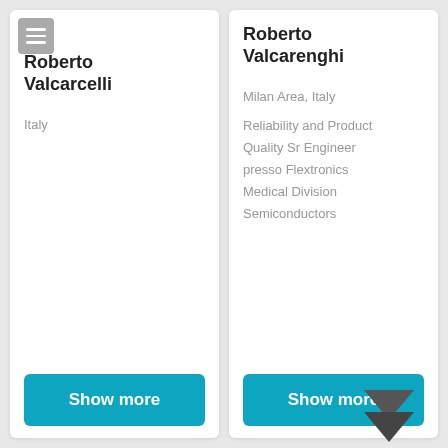Roberto Valcarcelli
Italy
Show more
Roberto Valcarenghi
Milan Area, Italy
Reliability and Product
Quality Sr Engineer
presso Flextronics
Medical Division
Semiconductors
Show more